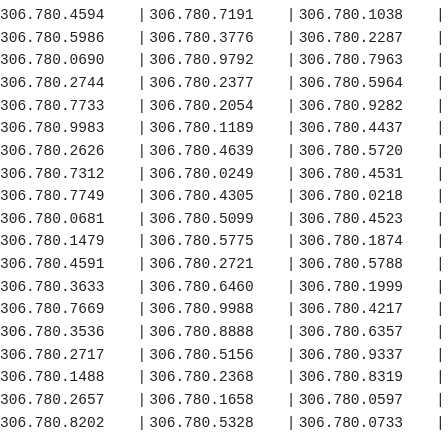| 306.780.4594 | | | 306.780.7191 | | | 306.780.1038 | | |
| 306.780.5986 | | | 306.780.3776 | | | 306.780.2287 | | |
| 306.780.0690 | | | 306.780.9792 | | | 306.780.7963 | | |
| 306.780.2744 | | | 306.780.2377 | | | 306.780.5964 | | |
| 306.780.7733 | | | 306.780.2054 | | | 306.780.9282 | | |
| 306.780.9983 | | | 306.780.1189 | | | 306.780.4437 | | |
| 306.780.2626 | | | 306.780.4639 | | | 306.780.5720 | | |
| 306.780.7312 | | | 306.780.0249 | | | 306.780.4531 | | |
| 306.780.7749 | | | 306.780.4305 | | | 306.780.0218 | | |
| 306.780.0681 | | | 306.780.5099 | | | 306.780.4523 | | |
| 306.780.1479 | | | 306.780.5775 | | | 306.780.1874 | | |
| 306.780.4591 | | | 306.780.2721 | | | 306.780.5788 | | |
| 306.780.3633 | | | 306.780.6460 | | | 306.780.1999 | | |
| 306.780.7669 | | | 306.780.9988 | | | 306.780.4217 | | |
| 306.780.3536 | | | 306.780.8888 | | | 306.780.6357 | | |
| 306.780.2717 | | | 306.780.5156 | | | 306.780.9337 | | |
| 306.780.1488 | | | 306.780.2368 | | | 306.780.8319 | | |
| 306.780.2657 | | | 306.780.1658 | | | 306.780.0597 | | |
| 306.780.8202 | | | 306.780.5328 | | | 306.780.0733 | | |